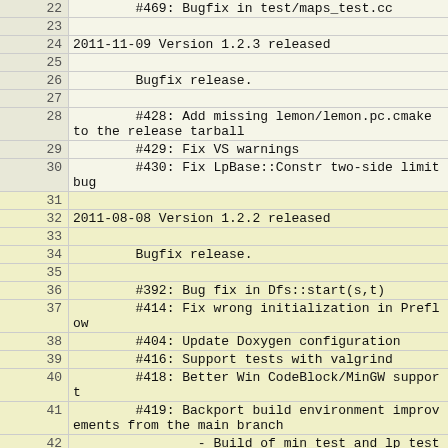| Line | Code |
| --- | --- |
| 22 |         #469: Bugfix in test/maps_test.cc |
| 23 |  |
| 24 | 2011-11-09 Version 1.2.3 released |
| 25 |  |
| 26 |         Bugfix release. |
| 27 |  |
| 28 |         #428: Add missing lemon/lemon.pc.cmake to the release tarball |
| 29 |         #429: Fix VS warnings |
| 30 |         #430: Fix LpBase::Constr two-side limit bug |
| 31 |  |
| 32 | 2011-08-08 Version 1.2.2 released |
| 33 |  |
| 34 |         Bugfix release. |
| 35 |  |
| 36 |         #392: Bug fix in Dfs::start(s,t) |
| 37 |         #414: Fix wrong initialization in Preflow |
| 38 |         #404: Update Doxygen configuration |
| 39 |         #416: Support tests with valgrind |
| 40 |         #418: Better Win CodeBlock/MinGW support |
| 41 |         #419: Backport build environment improvements from the main branch |
| 42 |                 - Build of min_test and lp_test precede the |